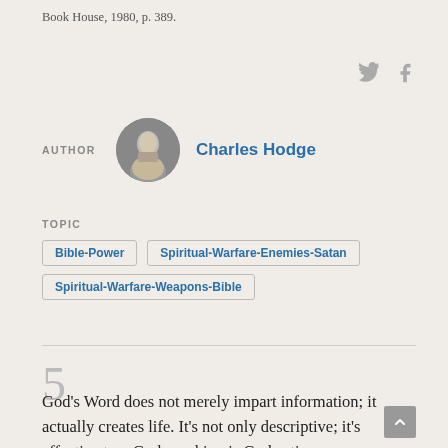Book House, 1980, p. 389.
[Figure (other): Twitter and Facebook social share icons]
AUTHOR  Charles Hodge
[Figure (photo): Circular portrait photo of Charles Hodge]
TOPIC
Bible-Power
Spiritual-Warfare-Enemies-Satan
Spiritual-Warfare-Weapons-Bible
5
God's Word does not merely impart information; it actually creates life. It's not only descriptive; it's effective too, God speaking is God acting.